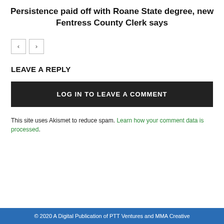Persistence paid off with Roane State degree, new Fentress County Clerk says
← →
LEAVE A REPLY
LOG IN TO LEAVE A COMMENT
This site uses Akismet to reduce spam. Learn how your comment data is processed.
© 2020 A Digital Publication of PTT Ventures and MMA Creative